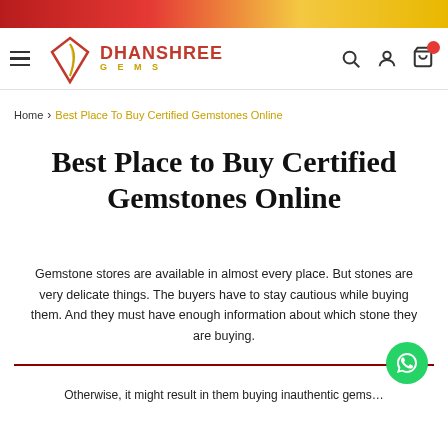Dhanshree Gems – navigation header with logo, hamburger menu, search, account, and cart icons
Home › Best Place To Buy Certified Gemstones Online
Best Place to Buy Certified Gemstones Online
Gemstone stores are available in almost every place. But stones are very delicate things. The buyers have to stay cautious while buying them. And they must have enough information about which stone they are buying.
Otherwise, it might result in them buying inauthentic gems…